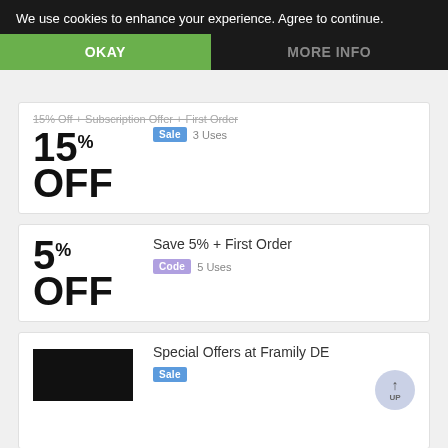We use cookies to enhance your experience. Agree to continue.
OKAY
MORE INFO
15% Off + Subscription Offer + First Order
15% OFF — Sale — 3 Uses
Save 5% + First Order — Code — 5 Uses
Special Offers at Framily DE — Sale
Special Framily DE Offers on eBbay